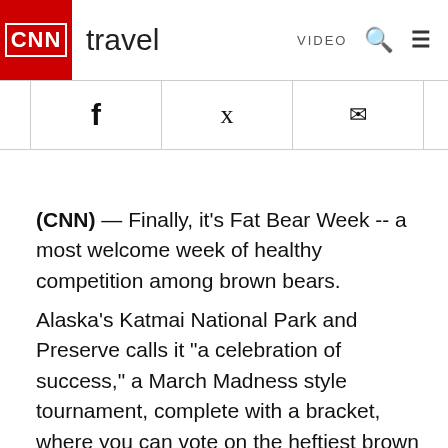CNN travel | VIDEO
[Figure (other): Social share icons: Facebook, Twitter, Email]
(CNN) — Finally, it's Fat Bear Week -- a most welcome week of healthy competition among brown bears.
Alaska's Katmai National Park and Preserve calls it "a celebration of success," a March Madness style tournament, complete with a bracket, where you can vote on the heftiest brown bear in the bunch.